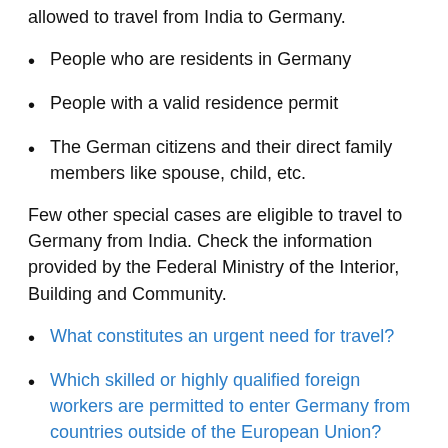allowed to travel from India to Germany.
People who are residents in Germany
People with a valid residence permit
The German citizens and their direct family members like spouse, child, etc.
Few other special cases are eligible to travel to Germany from India. Check the information provided by the Federal Ministry of the Interior, Building and Community.
What constitutes an urgent need for travel?
Which skilled or highly qualified foreign workers are permitted to enter Germany from countries outside of the European Union?
Students whose course of study is not fully possible